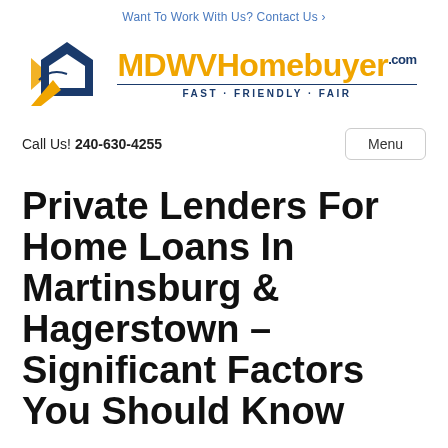Want To Work With Us? Contact Us ›
[Figure (logo): MDWVHomebuyer.com logo with house icon and tagline FAST · FRIENDLY · FAIR]
Call Us! 240-630-4255
Menu
Private Lenders For Home Loans In Martinsburg & Hagerstown – Significant Factors You Should Know